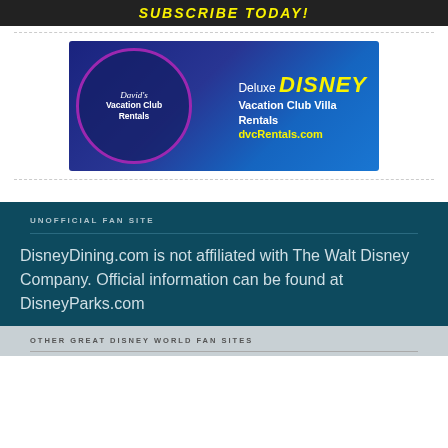[Figure (screenshot): Subscribe Today banner (partial, top of page)]
[Figure (advertisement): David's Vacation Club Rentals ad banner — Deluxe DISNEY Vacation Club Villa Rentals, dvcRentals.com]
UNOFFICIAL FAN SITE
DisneyDining.com is not affiliated with The Walt Disney Company. Official information can be found at DisneyParks.com
OTHER GREAT DISNEY WORLD FAN SITES